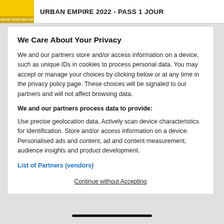URBAN EMPIRE 2022 - PASS 1 JOUR
We Care About Your Privacy
We and our partners store and/or access information on a device, such as unique IDs in cookies to process personal data. You may accept or manage your choices by clicking below or at any time in the privacy policy page. These choices will be signaled to our partners and will not affect browsing data.
We and our partners process data to provide:
Use precise geolocation data. Actively scan device characteristics for identification. Store and/or access information on a device. Personalised ads and content, ad and content measurement, audience insights and product development.
List of Partners (vendors)
Continue without Accepting